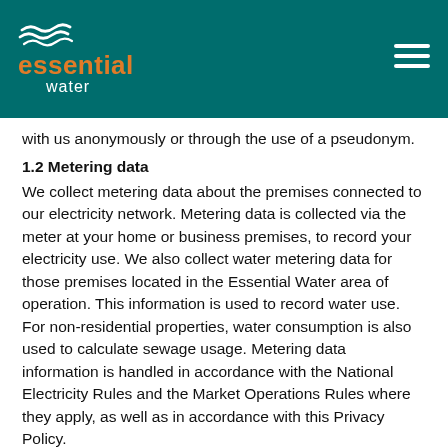Essential Water
with us anonymously or through the use of a pseudonym.
1.2 Metering data
We collect metering data about the premises connected to our electricity network. Metering data is collected via the meter at your home or business premises, to record your electricity use. We also collect water metering data for those premises located in the Essential Water area of operation. This information is used to record water use. For non-residential properties, water consumption is also used to calculate sewage usage. Metering data information is handled in accordance with the National Electricity Rules and the Market Operations Rules where they apply, as well as in accordance with this Privacy Policy.
1.3 Projects and customer surveys